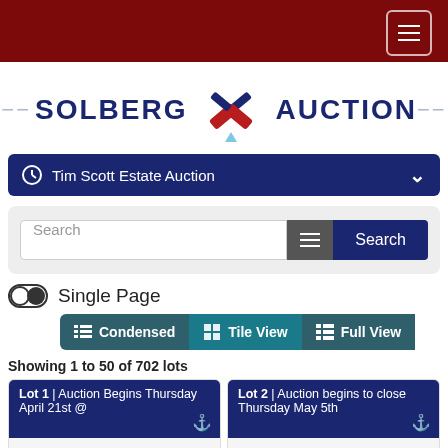[Figure (screenshot): Dark red navigation header bar with hamburger menu button on the right]
[Figure (logo): Solberg Auction logo with crossed gavels icon, text reads '= SOLBERG [icon] AUCTION =']
Tim Scott Estate Auction
Search
Single Page
Condensed   Tile View   Full View
Showing 1 to 50 of 702 lots
Lot 1 | Auction Begins Thursday April 21st @
Lot 2 | Auction begins to close Thursday May 5th